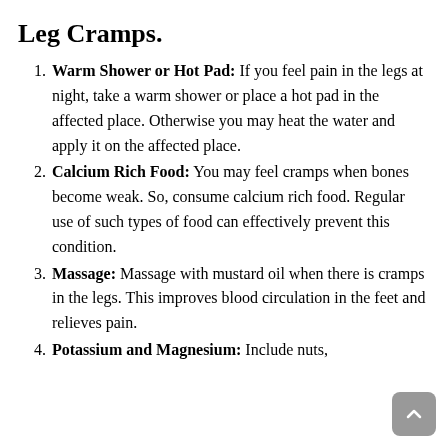Leg Cramps.
Warm Shower or Hot Pad: If you feel pain in the legs at night, take a warm shower or place a hot pad in the affected place. Otherwise you may heat the water and apply it on the affected place.
Calcium Rich Food: You may feel cramps when bones become weak. So, consume calcium rich food. Regular use of such types of food can effectively prevent this condition.
Massage: Massage with mustard oil when there is cramps in the legs. This improves blood circulation in the feet and relieves pain.
Potassium and Magnesium: Include nuts,